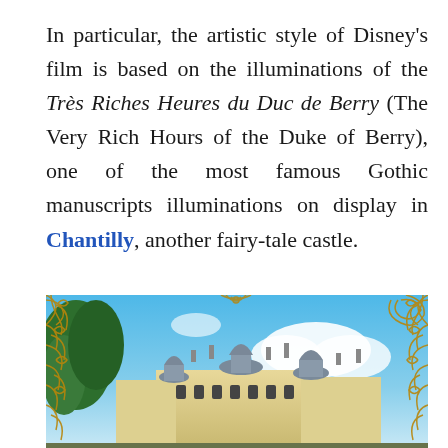In particular, the artistic style of Disney's film is based on the illuminations of the Très Riches Heures du Duc de Berry (The Very Rich Hours of the Duke of Berry), one of the most famous Gothic manuscripts illuminations on display in Chantilly, another fairy-tale castle.
[Figure (photo): Photograph of Chantilly Castle showing ornate French château architecture with domed towers, slate roofs, and decorative gold ironwork gate overlays against a blue sky with clouds and trees.]